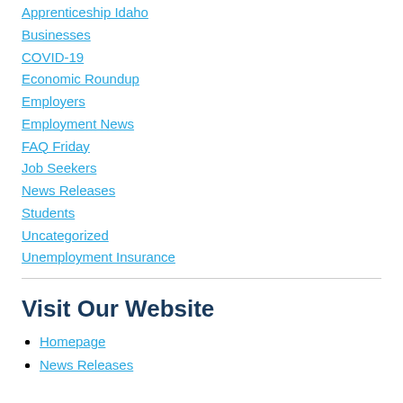Apprenticeship Idaho
Businesses
COVID-19
Economic Roundup
Employers
Employment News
FAQ Friday
Job Seekers
News Releases
Students
Uncategorized
Unemployment Insurance
Visit Our Website
Homepage
News Releases